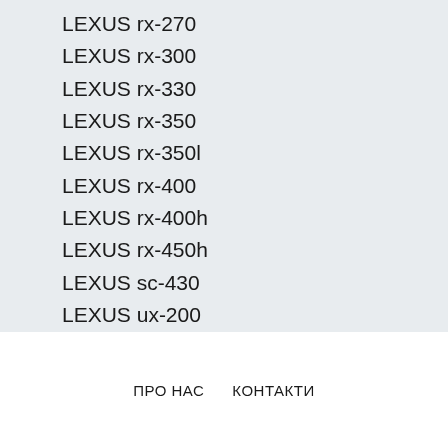LEXUS rx-270
LEXUS rx-300
LEXUS rx-330
LEXUS rx-350
LEXUS rx-350l
LEXUS rx-400
LEXUS rx-400h
LEXUS rx-450h
LEXUS sc-430
LEXUS ux-200
LEXUS ux-250h
ПРО НАС   КОНТАКТИ